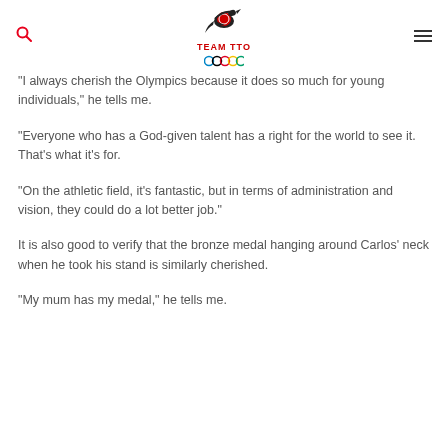TEAM TTO
"I always cherish the Olympics because it does so much for young individuals," he tells me.
"Everyone who has a God-given talent has a right for the world to see it. That's what it's for.
"On the athletic field, it's fantastic, but in terms of administration and vision, they could do a lot better job."
It is also good to verify that the bronze medal hanging around Carlos' neck when he took his stand is similarly cherished.
"My mum has my medal," he tells me.